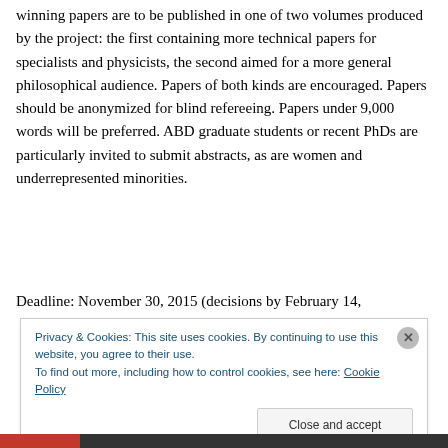winning papers are to be published in one of two volumes produced by the project: the first containing more technical papers for specialists and physicists, the second aimed for a more general philosophical audience. Papers of both kinds are encouraged. Papers should be anonymized for blind refereeing. Papers under 9,000 words will be preferred. ABD graduate students or recent PhDs are particularly invited to submit abstracts, as are women and underrepresented minorities.
Deadline: November 30, 2015 (decisions by February 14,
Privacy & Cookies: This site uses cookies. By continuing to use this website, you agree to their use.
To find out more, including how to control cookies, see here: Cookie Policy